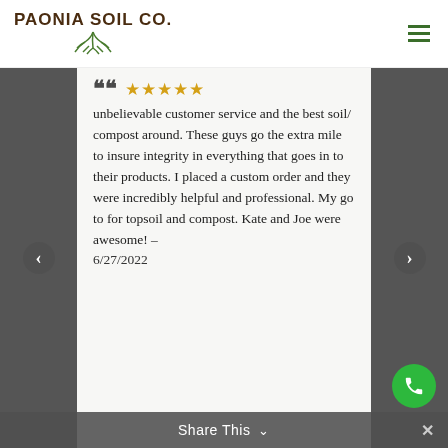PAONIA SOIL CO.
unbelievable customer service and the best soil/ compost around. These guys go the extra mile to insure integrity in everything that goes in to their products. I placed a custom order and they were incredibly helpful and professional. My go to for topsoil and compost. Kate and Joe were awesome! - 6/27/2022
Share This ✓ ×